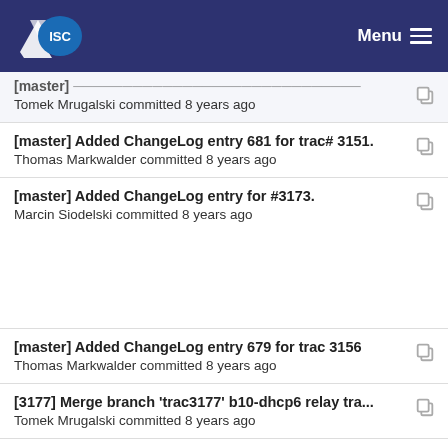ISC — Menu
[master] ... committed 8 years ago — Tomek Mrugalski committed 8 years ago
[master] Added ChangeLog entry 681 for trac# 3151. — Thomas Markwalder committed 8 years ago
[master] Added ChangeLog entry for #3173. — Marcin Siodelski committed 8 years ago
[master] Added ChangeLog entry 679 for trac 3156 — Thomas Markwalder committed 8 years ago
[3177] Merge branch 'trac3177' b10-dhcp6 relay tra... — Tomek Mrugalski committed 8 years ago
[master] Added ChangeLog entry 679 for trac 3156 — Thomas Markwalder committed 8 years ago
[master] Added ChangeLog entry for #3173 (partial)